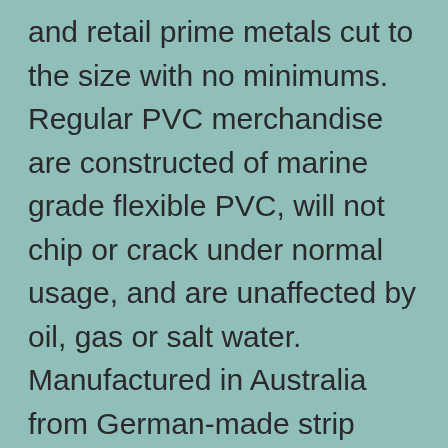and retail prime metals cut to the size with no minimums. Regular PVC merchandise are constructed of marine grade flexible PVC, will not chip or crack under normal usage, and are unaffected by oil, gas or salt water. Manufactured in Australia from German-made strip featuring the revolutionary Magnelis® coating, DuraGal® Channels supplied by InfraBuild Steel Centre (formerly LIBERTY OneSteel Metalcentre) provide superior strength and corrosion protection in the harshest of environments. Mj Steel Hot Selling Galvanized C Beam Strut Steel C Channel U Channel Price – (or Molding to use the US